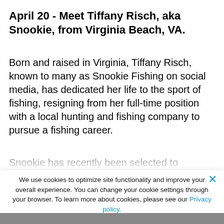April 20 - Meet Tiffany Risch, aka Snookie, from Virginia Beach, VA.
Born and raised in Virginia, Tiffany Risch, known to many as Snookie Fishing on social media, has dedicated her life to the sport of fishing, resigning from her full-time position with a local hunting and fishing company to pursue a fishing career.
We use cookies to optimize site functionality and improve your overall experience. You can change your cookie settings through your browser. To learn more about cookies, please see our Privacy policy.
Accept & Continue